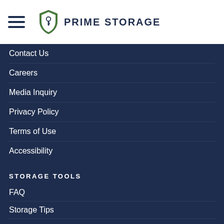[Figure (logo): Prime Storage logo with shield icon and text PRIME STORAGE]
Contact Us
Careers
Media Inquiry
Privacy Policy
Terms of Use
Accessibility
STORAGE TOOLS
FAQ
Storage Tips
Size Guide